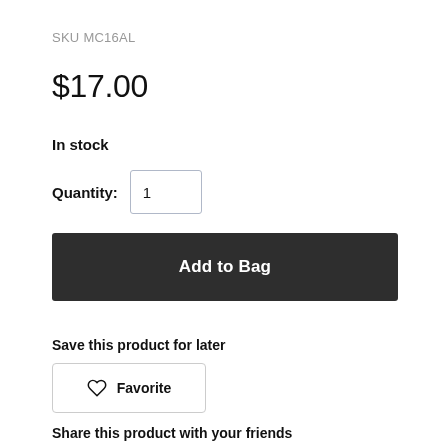SKU MC16AL
$17.00
In stock
Quantity: 1
Add to Bag
Save this product for later
Favorite
Share this product with your friends